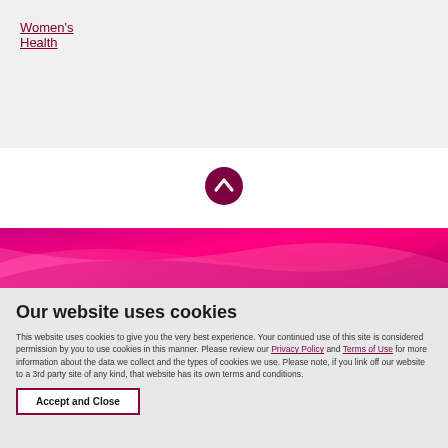Women's Health
[Figure (illustration): Scroll-to-top button: dark red circle with white chevron up arrow]
[Figure (illustration): Decorative magenta and pink gradient banner/wave graphic]
Our website uses cookies
This website uses cookies to give you the very best experience. Your continued use of this site is considered permission by you to use cookies in this manner. Please review our Privacy Policy and Terms of Use for more information about the data we collect and the types of cookies we use. Please note, if you link off our website to a 3rd party site of any kind, that website has its own terms and conditions.
Accept and Close